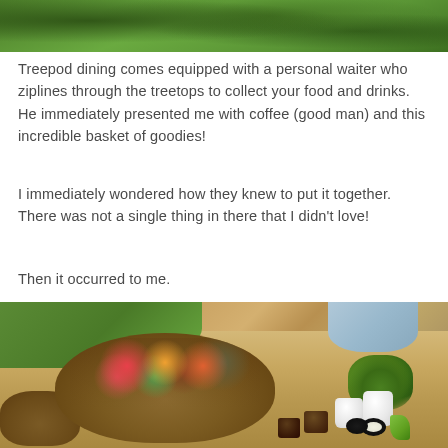[Figure (photo): Top portion of a photo showing tree branches and green foliage canopy, cropped at the top of the page]
Treepod dining comes equipped with a personal waiter who ziplines through the treetops to collect your food and drinks. He immediately presented me with coffee (good man) and this incredible basket of goodies!
I immediately wondered how they knew to put it together. There was not a single thing in there that I didn't love!
Then it occurred to me.
[Figure (photo): Photo of a large wicker basket filled with colorful fruits (watermelon, oranges, grapes, strawberries), small white ceramic cups, dark sauce cups, sushi rolls, lettuce/greens, and other food items arranged on a wooden table. A smaller wicker basket and boiled eggs are visible in the foreground. Green trees and a blue cushion/person are visible in the background.]